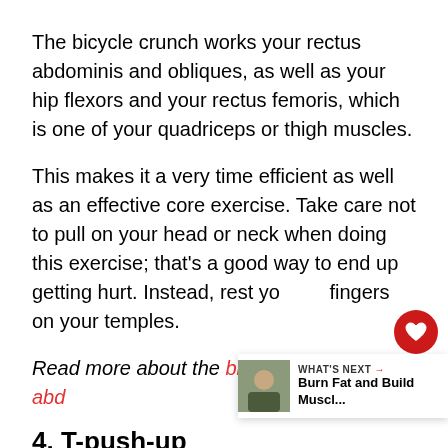The bicycle crunch works your rectus abdominis and obliques, as well as your hip flexors and your rectus femoris, which is one of your quadriceps or thigh muscles.
This makes it a very time efficient as well as an effective core exercise. Take care not to pull on your head or neck when doing this exercise; that's a good way to end up getting hurt. Instead, rest yo fingers on your temples.
Read more about the bicycle crunch abdominis...
4. T-push-up